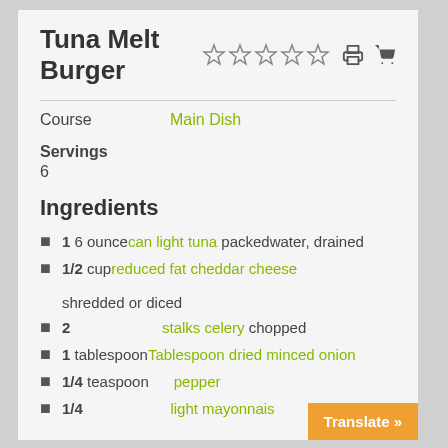Tuna Melt Burger
Course: Main Dish
Servings: 6
Ingredients
1 6 ounce can light tuna packedwater, drained
1/2 cup reduced fat cheddar cheese shredded or diced
2 stalks celery chopped
1 tablespoon Tablespoon dried minced onion
1/4 teaspoon pepper
1/4 light mayonnaise